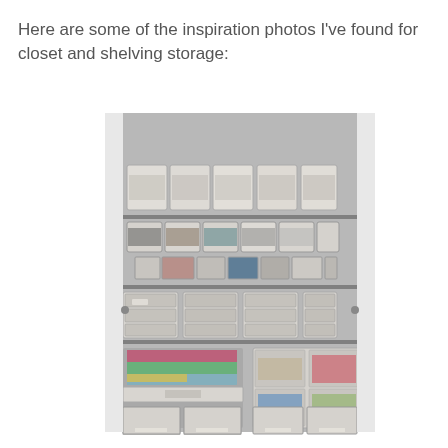Here are some of the inspiration photos I've found for closet and shelving storage:
[Figure (photo): A fully organized closet with multiple wire shelves holding clear plastic storage bins and drawer units. The top shelves contain labeled plastic bins in rows. Middle shelves have clear multi-drawer organizer units. The bottom section has larger clear plastic drawer units and storage containers neatly arranged on the floor.]